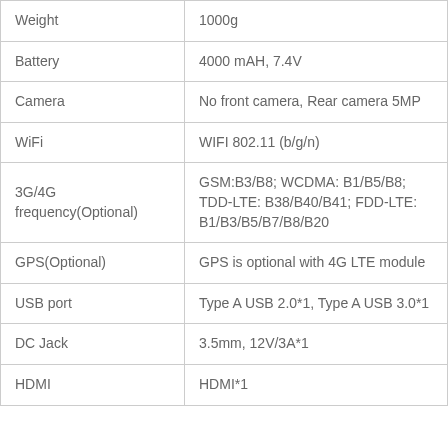| Property | Value |
| --- | --- |
| Weight | 1000g |
| Battery | 4000 mAH, 7.4V |
| Camera | No front camera, Rear camera 5MP |
| WiFi | WIFI 802.11 (b/g/n) |
| 3G/4G frequency(Optional) | GSM:B3/B8; WCDMA: B1/B5/B8; TDD-LTE: B38/B40/B41; FDD-LTE: B1/B3/B5/B7/B8/B20 |
| GPS(Optional) | GPS is optional with 4G LTE module |
| USB port | Type A USB 2.0*1, Type A USB 3.0*1 |
| DC Jack | 3.5mm, 12V/3A*1 |
| HDMI | HDMI*1 |